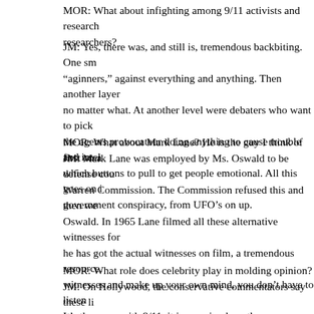MOR: What about infighting among 9/11 activists and researchers?
JM: Yes, there was, and still is, tremendous backbiting. One sma’aginners,” against everything and anything. Then another layer no matter what. At another level were debaters who want to pick the agents provocateur doing anything to cause trouble and intel which buttons to pull to get people emotional. All this goes on i government conspiracy, from UFO’s on up.
MOR: What about Mark Lane? He is the guy I think of first on a
JM: Mark Lane was employed by Ms. Oswald to be defense cou Warren Commission. The Commission refused this and then we Oswald. In 1965 Lane filmed all these alternative witnesses for he has got the actual witnesses on film, a tremendous resource. witnesses and make up your own mind, you don’t have to listen It’s the same with 9/11: it is amazing how the government and t people doubt their own senses, from the grassy knoll to the Pent
MOR: What role does celebrity play in molding opinion?
JM: On Hollywood, the conservative commentators say these li